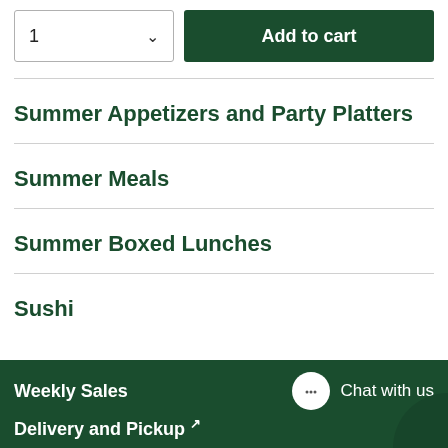[Figure (screenshot): Quantity selector showing '1' with a dropdown chevron, and a dark green 'Add to cart' button]
Summer Appetizers and Party Platters
Summer Meals
Summer Boxed Lunches
Sushi
Weekly Sales
Delivery and Pickup
Chat with us